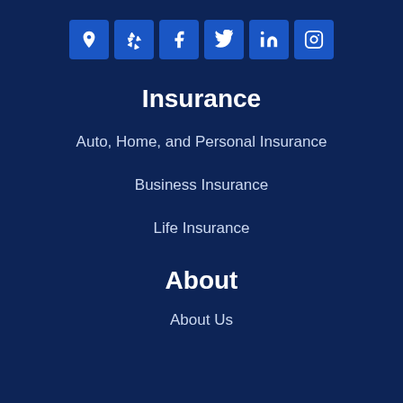[Figure (infographic): Row of 6 social media icon buttons: Google Maps pin, Yelp, Facebook, Twitter, LinkedIn, Instagram — each in a blue rounded square]
Insurance
Auto, Home, and Personal Insurance
Business Insurance
Life Insurance
About
About Us